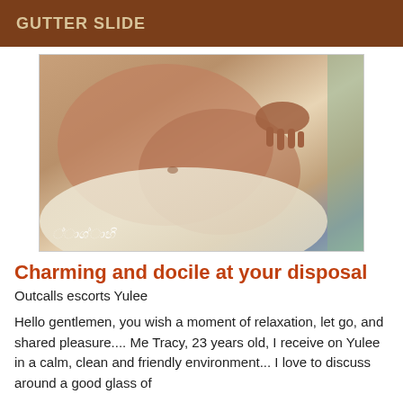GUTTER SLIDE
[Figure (photo): Close-up photo of a person's torso lying on a bed with white sheets, with a hand visible. A watermark in stylized script is visible in the lower left corner.]
Charming and docile at your disposal
Outcalls escorts Yulee
Hello gentlemen, you wish a moment of relaxation, let go, and shared pleasure.... Me Tracy, 23 years old, I receive on Yulee in a calm, clean and friendly environment... I love to discuss around a good glass of